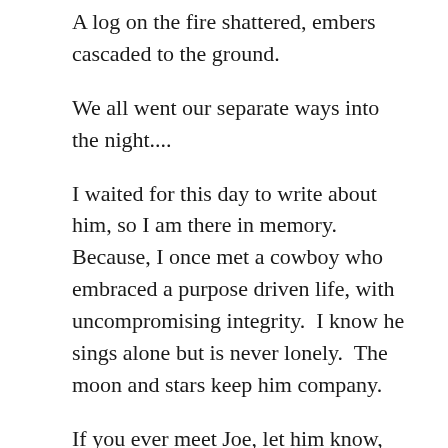A log on the fire shattered, embers cascaded to the ground.
We all went our separate ways into the night....
I waited for this day to write about him, so I am there in memory.  Because, I once met a cowboy who embraced a purpose driven life, with uncompromising integrity.  I know he sings alone but is never lonely.  The moon and stars keep him company.
If you ever meet Joe, let him know, while he was singing, I downloaded his co-ordinates and brought his direction in life, back home to the city, with me.